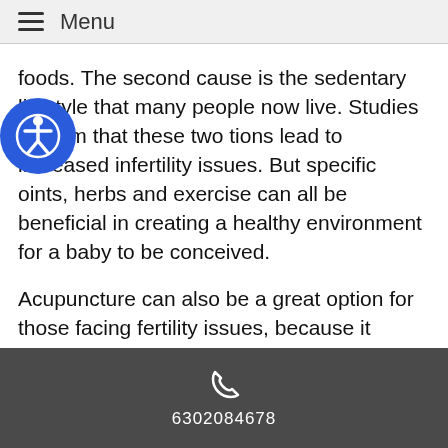≡ Menu
foods. The second cause is the sedentary lifestyle that many people now live. Studies confirm that these two tions lead to increased infertility issues. But specific oints, herbs and exercise can all be beneficial in creating a healthy environment for a baby to be conceived.
Acupuncture can also be a great option for those facing fertility issues, because it doesn't cost nearly as much as other options. The average cost of in vitro fertilization (IVF) is $15,000 per session and the success rates are only about 33 percent. However, the use of TCM over a 6 month period can increase success rates by nearly 65 percent for a fraction of the cost of IVF. With acupuncture, people also get the added benefits of
6302084678